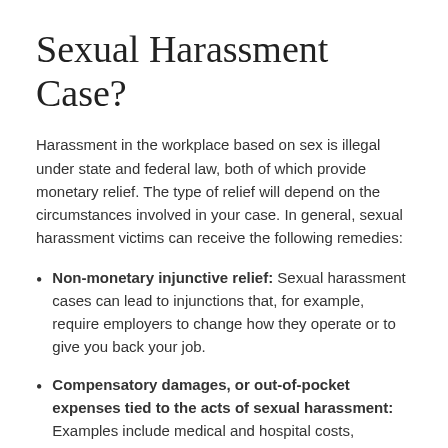Sexual Harassment Case?
Harassment in the workplace based on sex is illegal under state and federal law, both of which provide monetary relief. The type of relief will depend on the circumstances involved in your case. In general, sexual harassment victims can receive the following remedies:
Non-monetary injunctive relief: Sexual harassment cases can lead to injunctions that, for example, require employers to change how they operate or to give you back your job.
Compensatory damages, or out-of-pocket expenses tied to the acts of sexual harassment: Examples include medical and hospital costs, physical therapy, job search expenses, and transportation costs.